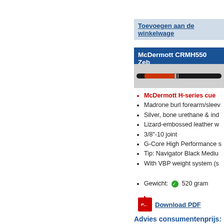Toevoegen aan de winkelwage
McDermott CRMH550 Zeb
[Figure (photo): A billiard cue stick with red/black coloring on a grey background]
McDermott H-series cue
Madrone burl forearm/sleev
Silver, bone urethane & ind
Lizard-embossed leather w
3/8"-10 joint
G-Core High Performance s
Tip: Navigator Black Mediu
With VBP weight system (s
Gewicht: 520 gram
Download PDF
Advies consumentenprijs: